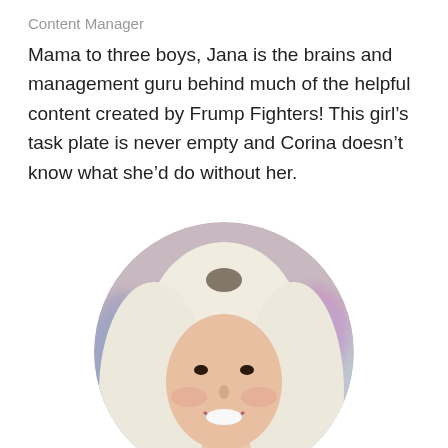Content Manager
Mama to three boys, Jana is the brains and management guru behind much of the helpful content created by Frump Fighters! This girl’s task plate is never empty and Corina doesn’t know what she’d do without her.
[Figure (photo): Circular portrait photo of a woman with long blonde/white hair, smiling, with a blurred colorful background.]